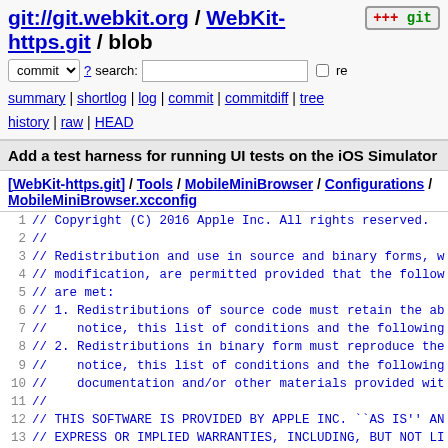git://git.webkit.org / WebKit-https.git / blob
commit ? search: re
summary | shortlog | log | commit | commitdiff | tree history | raw | HEAD
Add a test harness for running UI tests on the iOS Simulator
[WebKit-https.git] / Tools / MobileMiniBrowser / Configurations / MobileMiniBrowser.xcconfig
1 // Copyright (C) 2016 Apple Inc. All rights reserved.
2 //
3 // Redistribution and use in source and binary forms, w
4 // modification, are permitted provided that the follow
5 // are met:
6 // 1. Redistributions of source code must retain the ab
7 //    notice, this list of conditions and the following
8 // 2. Redistributions in binary form must reproduce the
9 //    notice, this list of conditions and the following
10 //    documentation and/or other materials provided wit
11 //
12 // THIS SOFTWARE IS PROVIDED BY APPLE INC. ``AS IS'' AN
13 // EXPRESS OR IMPLIED WARRANTIES, INCLUDING, BUT NOT LI
14 // IMPLIED WARRANTIES OF MERCHANTABILITY AND FITNESS FO
15 // PURPOSE ARE DISCLAIMED.  IN NO EVENT SHALL APPLE INC
16 // CONTRIBUTORS BE LIABLE FOR ANY DIRECT, INDIRECT, INC
17 // EXEMPLARY, OR CONSEQUENTIAL DAMAGES (INCLUDING, BUT
18 // PROCUREMENT OF SUBSTITUTE GOODS OR SERVICES; LOSS OF